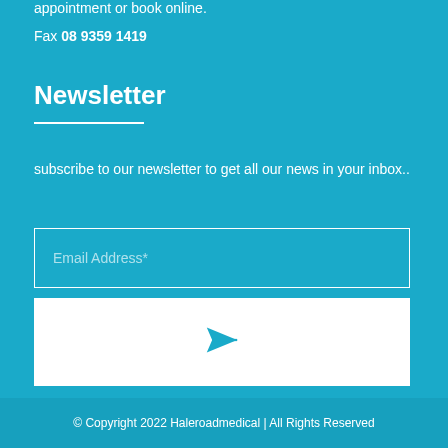appointment or book online.
Fax 08 9359 1419
Newsletter
subscribe to our newsletter to get all our news in your inbox..
Email Address*
[Figure (other): White submit button with paper plane send icon]
© Copyright 2022 Haleroadmedical | All Rights Reserved